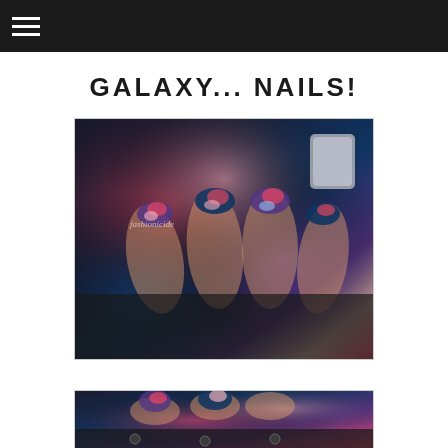≡
GALAXY... NAILS!
[Figure (photo): Close-up photo of hands with galaxy-themed nail art (pink, blue, purple multicolor swirl pattern) resting on a dark leather surface, with rings and glittery nail polish bottle visible. Watermark reads 'fashionicide'.]
[Figure (photo): Partial close-up photo of hands with same galaxy-themed nail art, cropped at bottom of page.]